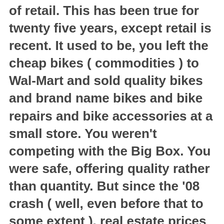of retail.  This has been true for twenty five years, except retail is recent.  It used to be, you left the cheap bikes ( commodities ) to Wal-Mart and sold quality bikes and brand name bikes and bike repairs and bike accessories at a small store.  You weren't competing with the Big Box.  You were safe, offering quality rather than quantity.  But since the '08 crash ( well, even before that to some extent ), real estate prices are far too insane.  Retail is a suckers game now.
*
So rather than concentrate on being a merchant, you need to concentrate on being a service store after you…  Not